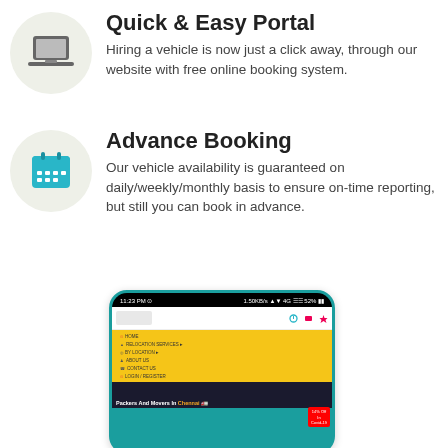Quick & Easy Portal
Hiring a vehicle is now just a click away, through our website with free online booking system.
Advance Booking
Our vehicle availability is guaranteed on daily/weekly/monthly basis to ensure on-time reporting, but still you can book in advance.
[Figure (screenshot): Mobile phone screenshot showing a packers and movers website (Packers And Movers In Chennai) with yellow navigation menu, time 11:23 PM, 52% battery, 4G signal.]